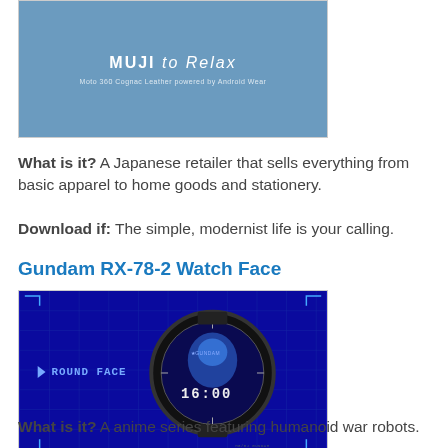[Figure (screenshot): Screenshot of MUJI to Relax watch face app on a blue background showing 'MUJI to Relax' branding and 'Moto 360 Cognac Leather powered by Android Wear' subtitle]
What is it? A Japanese retailer that sells everything from basic apparel to home goods and stationery.
Download if: The simple, modernist life is your calling.
Gundam RX-78-2 Watch Face
[Figure (screenshot): Screenshot of Gundam RX-78-2 Watch Face app showing a smartwatch with blue sci-fi themed display showing 'ROUND FACE' text, Gundam silhouette, and time 16:00 on dark blue grid background]
What is it? A anime series featuring humanoid war robots.